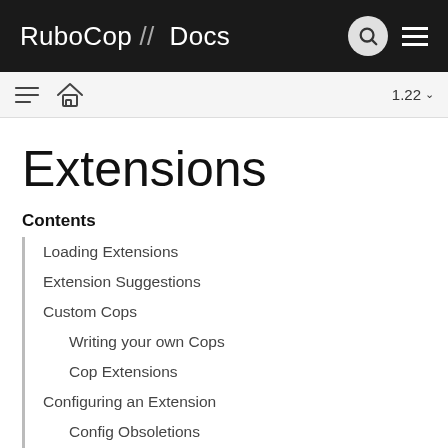RuboCop // Docs
Extensions
Contents
Loading Extensions
Extension Suggestions
Custom Cops
Writing your own Cops
Cop Extensions
Configuring an Extension
Config Obsoletions
Custom Formatters
Creating a Custom Formatter